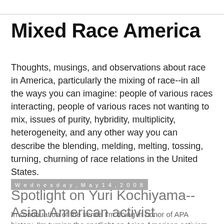Mixed Race America
Thoughts, musings, and observations about race in America, particularly the mixing of race--in all the ways you can imagine: people of various races interacting, people of various races not wanting to mix, issues of purity, hybridity, multiplicity, heterogeneity, and any other way you can describe the blending, melding, melting, tossing, turning, churning of race relations in the United States.
Wednesday, May 14, 2008
Spotlight on Yuri Kochiyama--Asian American activist
In continuation of the series I'm doing in honor of APA history, I'm turning the spotlight on Asian American activism in the form of one particular activist: